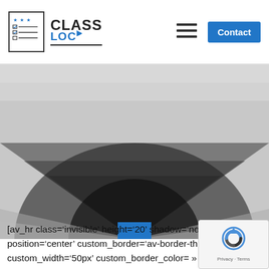[Figure (logo): ClassLoc logo with bordered icon and text 'CLASS LOC' with blue LOC text]
[Figure (illustration): Navigation hamburger menu icon (three horizontal lines)]
Contact
[Figure (illustration): Hero image with grey radial gradient / spotlight effect on dark background, with a blue square at the bottom center]
[av_hr class='invisible' height='20' shadow='no-shade position='center' custom_border='av-border-thin' custom_width='50px' custom_border_color= »